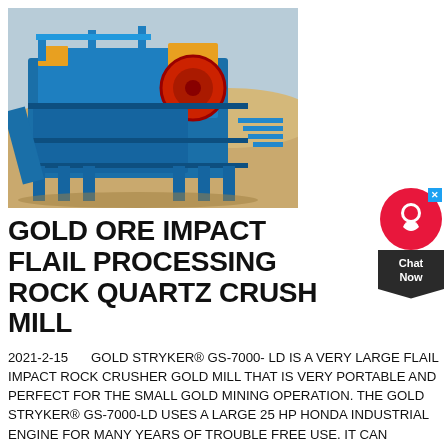[Figure (photo): Large blue industrial gold ore impact flail processing rock crusher mill machine on sandy desert ground, with yellow mechanical components and metal framework structure.]
GOLD ORE IMPACT FLAIL PROCESSING ROCK QUARTZ CRUSH MILL
2021-2-15   GOLD STRYKER® GS-7000- LD IS A VERY LARGE FLAIL IMPACT ROCK CRUSHER GOLD MILL THAT IS VERY PORTABLE AND PERFECT FOR THE SMALL GOLD MINING OPERATION. THE GOLD STRYKER® GS-7000-LD USES A LARGE 25 HP HONDA INDUSTRIAL ENGINE FOR MANY YEARS OF TROUBLE FREE USE. IT CAN PROCESS AND CRUSH UP TO 7 TONS IN A DAY, ALL THE WAY DOWN TO #300 MESH THROUGH THE MILL TO RELEASE THE GOLD. $15999 SALE